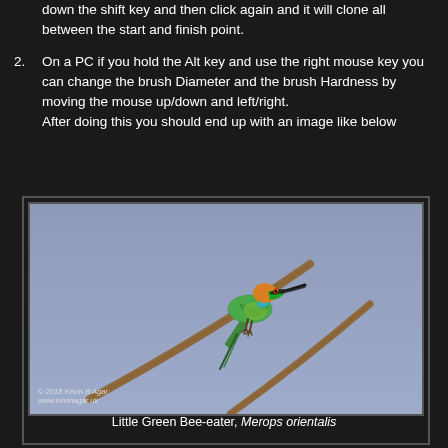down the shift key and then click again and it will clone all between the start and finish point.
2. On a PC if you hold the Alt key and use the right mouse key you can change the brush Diameter and the brush Hardness by moving the mouse up/down and left/right.
After doing this you should end up with an image like below
[Figure (photo): A Little Green Bee-eater bird (Merops orientalis) perched on a branch against a light blue-grey sky background. Photo credited to Kevin B Agar, www.kevinagar.uk]
Little Green Bee-eater, Merops orientalis